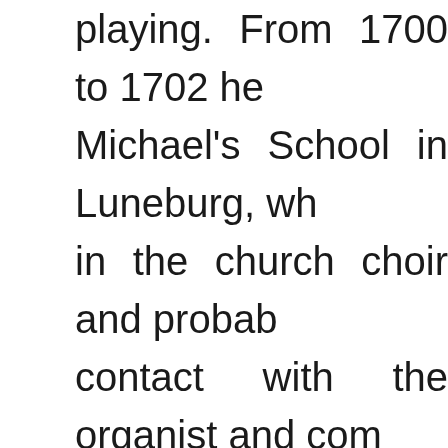playing. From 1700 to 1702 he Michael's School in Luneburg, wh in the church choir and probab contact with the organist and com Bohm. He also visited Hamburg Reincken at the organ of St. Church. After competing unsuccessfu organist's post in Sangerhausen i spent the spring and summer